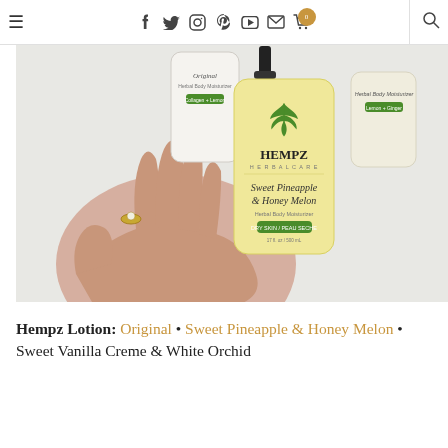≡  f  t  ◻  P  ▶  ✉  🛒 0  🔍
[Figure (photo): A hand holding a Hempz Sweet Pineapple & Honey Melon herbal body moisturizer bottle (yellow/cream colored with green hemp leaf logo), with two other Hempz lotion bottles in the background on a light surface.]
Hempz Lotion: Original • Sweet Pineapple & Honey Melon • Sweet Vanilla Creme & White Orchid